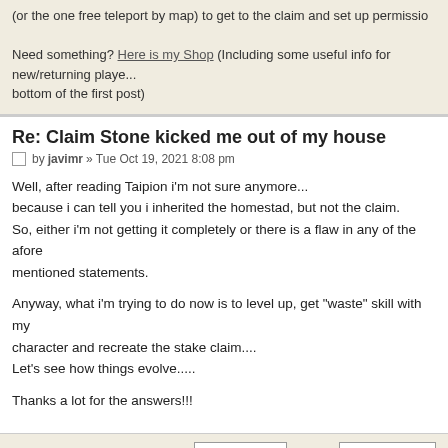(or the one free teleport by map) to get to the claim and set up permissio... Need something? Here is my Shop (Including some useful info for new/returning players at the bottom of the first post)
Re: Claim Stone kicked me out of my house
by javimr » Tue Oct 19, 2021 8:08 pm
Well, after reading Taipion i'm not sure anymore...
because i can tell you i inherited the homestad, but not the claim.
So, either i'm not getting it completely or there is a flaw in any of the afore mentioned statements.

Anyway, what i'm trying to do now is to level up, get "waste" skill with my character and recreate the stake claim....
Let's see how things evolve.....

Thanks a lot for the answers!!!
Display posts from previous: All posts  Sort by Post time
POSTREPLY
Return to Bugs & Technicalities
Jump to: